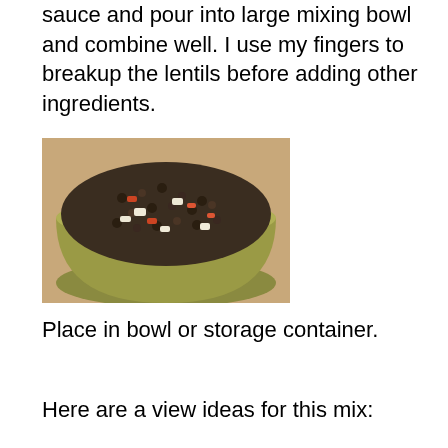sauce and pour into large mixing bowl and combine well. I use my fingers to breakup the lentils before adding other ingredients.
[Figure (photo): A bowl filled with a mixture of lentils, chopped vegetables and other ingredients, photographed from above on a wooden surface.]
Place in bowl or storage container.
Here are a view ideas for this mix: